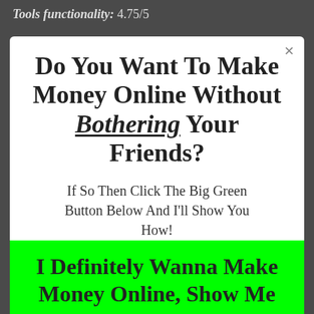Tools functionality: 4.75/5
Do You Want To Make Money Online Without Bothering Your Friends?
If So Then Click The Big Green Button Below And I'll Show You How!
I Definitely Wanna Make Money Online, Show Me